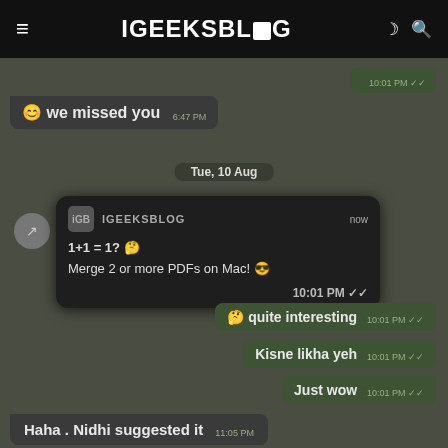iGEEKSBLOG
[Figure (screenshot): WhatsApp chat screenshot showing messages: 'we missed you' received message, date divider 'Tue, 10 Aug', a notification card from IGEEKSBLOG saying '1+1=1? Merge 2 or more PDFs on Mac!', sent messages '🤔 quite interesting', 'Kisne likha yeh', 'Just wow', and received message 'Haha . Nidhi suggested it']